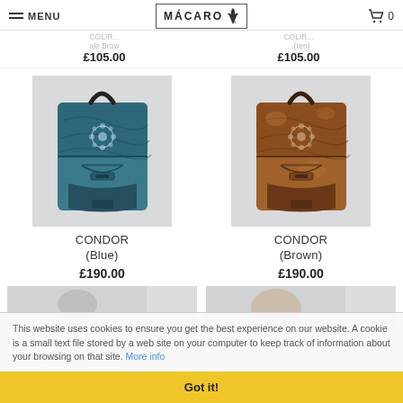MENU | MÁCARO | 0
£105.00
£105.00
[Figure (photo): Blue leather backpack (CONDOR Blue) with decorative floral metal embellishment on front, dark handle strap, on grey background]
[Figure (photo): Brown leather backpack (CONDOR Brown) with decorative floral metal embellishment on front, dark handle strap, on grey background]
CONDOR
(Blue)
£190.00
CONDOR
(Brown)
£190.00
This website uses cookies to ensure you get the best experience on our website. A cookie is a small text file stored by a web site on your computer to keep track of information about your browsing on that site. More info
Got it!